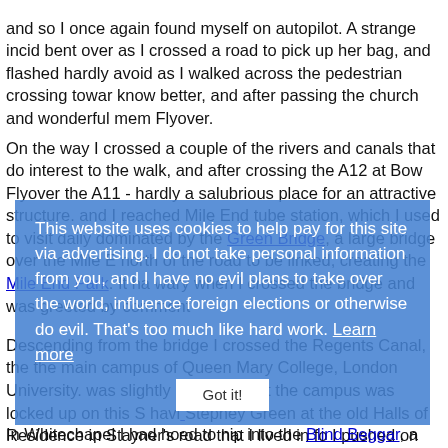and so I once again found myself on autopilot. A strange incid bent over as I crossed a road to pick up her bag, and flashed hardly avoid as I walked across the pedestrian crossing towar know better, and after passing the church and wonderful mem Flyover.
On the way I crossed a couple of the rivers and canals that do interest to the walk, and after crossing the A12 at Bow Flyover the A11 - hardly a salubrious place for an attractive structure. and I reached Mile End tube station, which I used to visit daily dominated by the Green Bridge, a large bridge over the Mile E north of the road to be linked, creating the Mile End Park. It ha wary when I crossed the bridge and was greeted by comment Descending from the bridge I crossed the Regents Canal, the the main campus of Queen Mary College, London University. was slightly annoyed that the campus was locked up on this S havi Stepney Green at the old Halls of Residence in Stayner's road that I lived in fo I pushed on down the Mile End road towards Whitechapel to f a large supermarket had improved the area, and the old cine for 'Scandal' still in a frame) had reopened. The old Almshouse and the shops to the southern side of the road looked uncha
[Figure (screenshot): Cookie consent overlay banner with blue semi-transparent background reading: 'This website uses cookies to help pay for this site via advertising. I do not take personal information from you, and I have no evil plans to take over the world, influence foreign elections or otherwise do evil. That's too much like hard work. Learn more' with a 'Got it!' button.]
In Whitechapel I had hoed to nip into the Blind Beggar, a famo shut. This pub is where Ronnie Kray shot George Cornell on